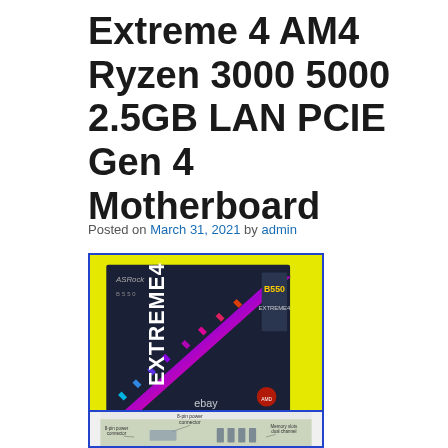Extreme 4 AM4 Ryzen 3000 5000 2.5GB LAN PCIE Gen 4 Motherboard
Posted on March 31, 2021 by admin
[Figure (photo): Photo of ASRock B550 Extreme4 motherboard retail box with RGB lighting shown on the box, yellow background, eBay watermark]
[Figure (photo): Partial photo of ASRock B550 Extreme4 motherboard diagram showing connectors and memory slots labels]